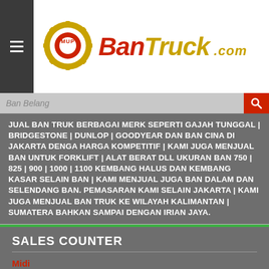[Figure (logo): BanTruck.com logo with MUP gear icon in gold/red, brand name BanTruck in red and gold italic, .com in gold]
Ban Belang (search placeholder)
JUAL BAN TRUK BERBAGAI MERK SEPERTI GAJAH TUNGGAL | BRIDGESTONE | DUNLOP | GOODYEAR DAN BAN CINA DI JAKARTA DENGA HARGA KOMPETITIF | KAMI JUGA MENJUAL BAN UNTUK FORKLIFT | ALAT BERAT DLL UKURAN BAN 750 | 825 | 900 | 1000 | 1100 KEMBANG HALUS DAN KEMBANG KASAR SELAIN BAN | KAMI MENJUAL JUGA BAN DALAM DAN SELENDANG BAN. PEMASARAN KAMI SELAIN JAKARTA | KAMI JUGA MENJUAL BAN TRUK KE WILAYAH KALIMANTAN | SUMATERA BAHKAN SAMPAI DENGAN IRIAN JAYA.
SALES COUNTER
Midi
PIN BB  :  Na
Hape  :  0838 98829040 WA
Mandiri
PIN BB  :  ...